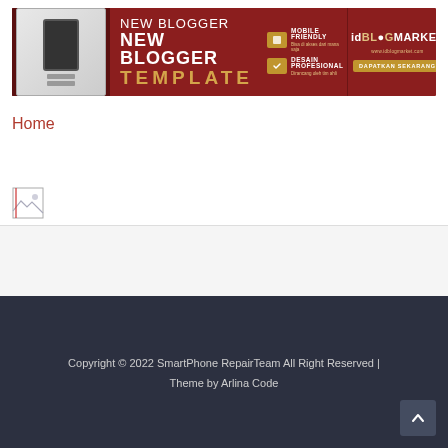[Figure (illustration): New Blogger Template advertisement banner on dark red background with mobile-friendly and professional design features, idBLOGMARKET branding]
Home
[Figure (illustration): Broken image icon (small thumbnail placeholder)]
Copyright © 2022 SmartPhone RepairTeam All Right Reserved | Theme by Arlina Code